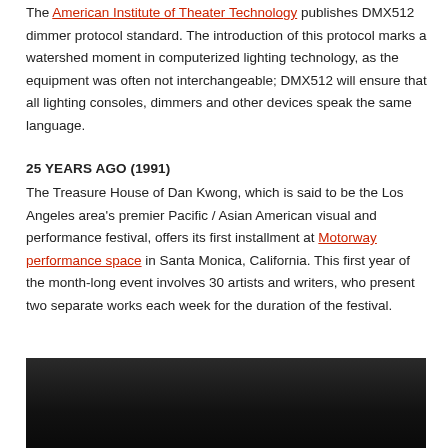The American Institute of Theater Technology publishes DMX512 dimmer protocol standard. The introduction of this protocol marks a watershed moment in computerized lighting technology, as the equipment was often not interchangeable; DMX512 will ensure that all lighting consoles, dimmers and other devices speak the same language.
25 YEARS AGO (1991)
The Treasure House of Dan Kwong, which is said to be the Los Angeles area's premier Pacific / Asian American visual and performance festival, offers its first installment at Motorway performance space in Santa Monica, California. This first year of the month-long event involves 30 artists and writers, who present two separate works each week for the duration of the festival.
[Figure (photo): Dark photograph, mostly black/very dark tones, appearing to be a performance or stage scene.]